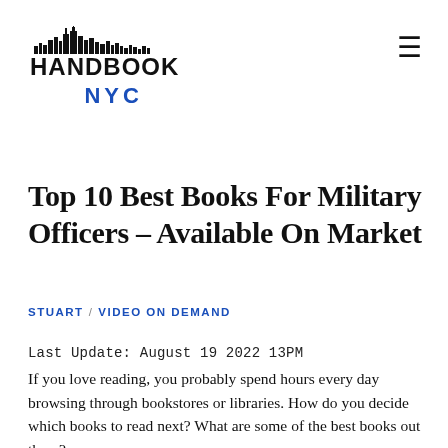[Figure (logo): Handbook NYC logo with stylized skyline above the word HANDBOOK in bold black, and NYC in bold blue below]
Top 10 Best Books For Military Officers – Available On Market
STUART / VIDEO ON DEMAND
Last Update: August 19 2022 13PM
If you love reading, you probably spend hours every day browsing through bookstores or libraries. How do you decide which books to read next? What are some of the best books out there?